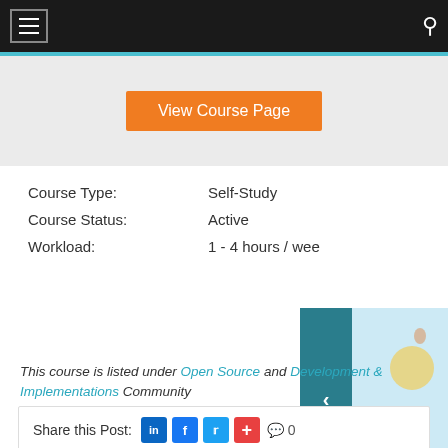Navigation bar with hamburger menu and search icon
View Course Page
Course Type: Self-Study
Course Status: Active
Workload: 1 - 4 hours / week
This course is listed under Open Source and Development & Implementations Community
Share this Post: [LinkedIn] [Facebook] [Twitter] [+] 0
Related Posts:
Web Development  Python  Di...